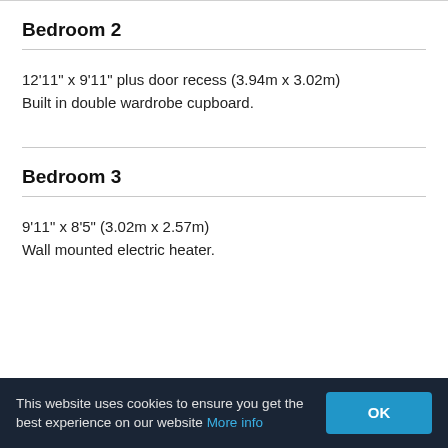Bedroom 2
12'11" x 9'11" plus door recess (3.94m x 3.02m)
Built in double wardrobe cupboard.
Bedroom 3
9'11" x 8'5" (3.02m x 2.57m)
Wall mounted electric heater.
This website uses cookies to ensure you get the best experience on our website More info